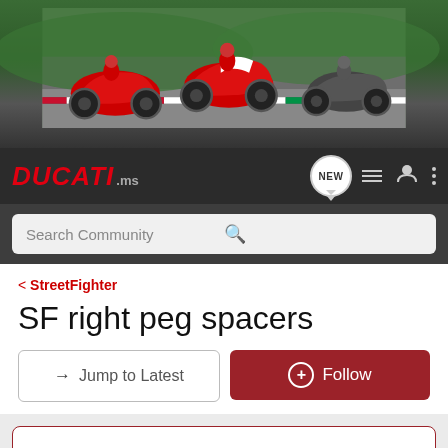[Figure (photo): Hero banner showing three Ducati motorcycles on a racing track — a red sportbike on the left, a red/white supermoto in the center, and a dark streetfighter on the right. Green hills and track curbs visible in background.]
DUCATI.MS — navigation bar with NEW badge, list icon, user icon, and menu dots
Search Community
< StreetFighter
SF right peg spacers
→ Jump to Latest
+ Follow
Hey Everyone! Enter your bike HERE to be a part of this months Bike of the Month Challenge!